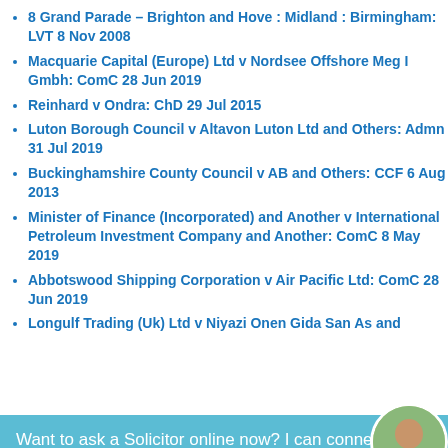8 Grand Parade – Brighton and Hove : Midland : Birmingham: LVT 8 Nov 2008
Macquarie Capital (Europe) Ltd v Nordsee Offshore Meg I Gmbh: ComC 28 Jun 2019
Reinhard v Ondra: ChD 29 Jul 2015
Luton Borough Council v Altavon Luton Ltd and Others: Admn 31 Jul 2019
Buckinghamshire County Council v AB and Others: CCF 6 Aug 2013
Minister of Finance (Incorporated) and Another v International Petroleum Investment Company and Another: ComC 8 May 2019
Abbotswood Shipping Corporation v Air Pacific Ltd: ComC 28 Jun 2019
Longulf Trading (Uk) Ltd v Niyazi Onen Gida San As and
Want to ask a Solicitor online now? I can connect you ...
P (A Company Incorporated in County A) v D (A Company Incorporated In Country B) and Others: ComC 16 May